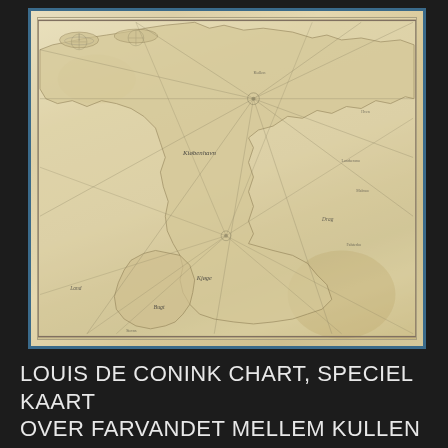[Figure (map): Historical nautical chart by Louis de Conink showing the waters between Kullen and Falsterboe (Øresund/Swedish-Danish strait area). The chart is an aged, beige/cream colored hand-drawn map with rhumb lines radiating from two compass rose centers, coastal outlines, place names, and navigational markings. The map has a teal/blue border binding and is photographed against a dark background.]
LOUIS DE CONINK CHART, SPECIEL KAART OVER FARVANDET MELLEM KULLEN OG FALSTERBOE...